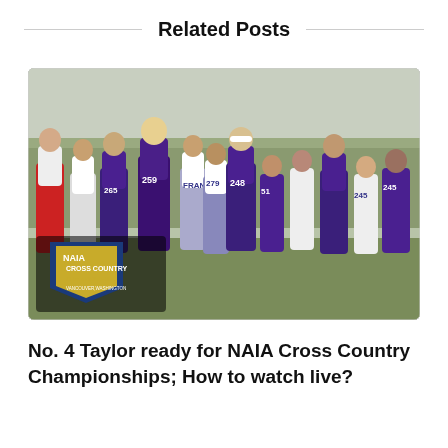Related Posts
[Figure (photo): Group of male cross country runners in a race. Several runners wear purple Taylor University uniforms with race numbers (259, 248, 245, 265). Other runners wear white St. Francis uniforms (279) and a red/white uniform (148). An NAIA Cross Country Championships logo overlay appears in the bottom-left corner, referencing Vancouver, Washington.]
No. 4 Taylor ready for NAIA Cross Country Championships; How to watch live?